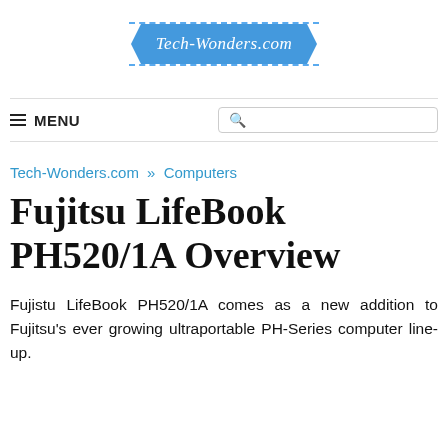Tech-Wonders.com
≡ MENU
Tech-Wonders.com » Computers
Fujitsu LifeBook PH520/1A Overview
Fujistu LifeBook PH520/1A comes as a new addition to Fujitsu's ever growing ultraportable PH-Series computer line-up.